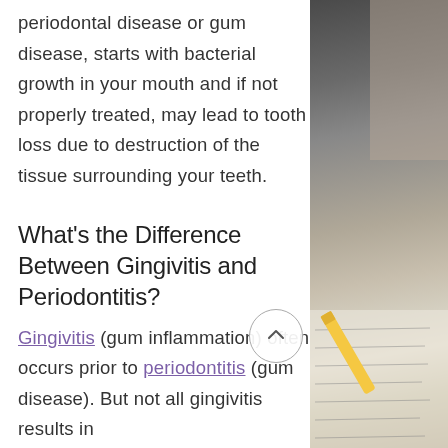periodontal disease or gum disease, starts with bacterial growth in your mouth and if not properly treated, may lead to tooth loss due to destruction of the tissue surrounding your teeth.
What's the Difference Between Gingivitis and Periodontitis?
Gingivitis (gum inflammation) often occurs prior to periodontitis (gum disease). But not all gingivitis results in
[Figure (photo): Photo on the right side showing a person's hand writing or drawing, with a yellow pencil visible, and handwritten notes on paper.]